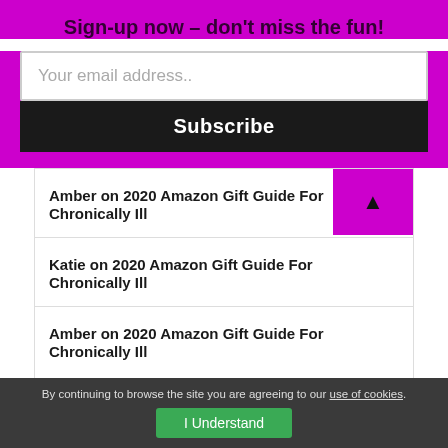Sign-up now – don't miss the fun!
Your email address..
Subscribe
Amber on 2020 Amazon Gift Guide For Chronically Ill
Katie on 2020 Amazon Gift Guide For Chronically Ill
Amber on 2020 Amazon Gift Guide For Chronically Ill
Categories
By continuing to browse the site you are agreeing to our use of cookies. I Understand